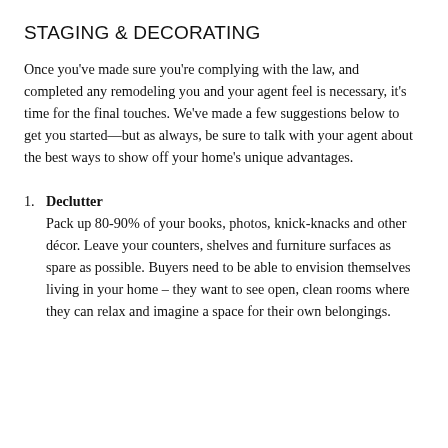STAGING & DECORATING
Once you've made sure you're complying with the law, and completed any remodeling you and your agent feel is necessary, it's time for the final touches. We've made a few suggestions below to get you started—but as always, be sure to talk with your agent about the best ways to show off your home's unique advantages.
1. Declutter
Pack up 80-90% of your books, photos, knick-knacks and other décor. Leave your counters, shelves and furniture surfaces as spare as possible. Buyers need to be able to envision themselves living in your home – they want to see open, clean rooms where they can relax and imagine a space for their own belongings.